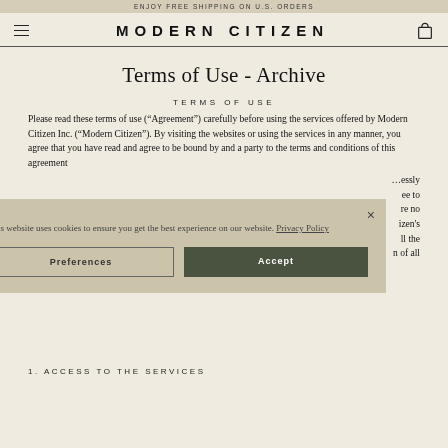ENJOY FREE SHIPPING ON U.S. ORDERS
MODERN CITIZEN
Terms of Use - Archive
TERMS OF USE
Please read these terms of use (“Agreement”) carefully before using the services offered by Modern Citizen Inc. (“Modern Citizen”). By visiting the websites or using the services in any manner, you agree that you have read and agree to be bound by and a party to the terms and conditions of this agreement
This website uses cookies to ensure you get the best experience on our website. Privacy Policy
Preferences
Accept
1. ACCESS TO THE SERVICES